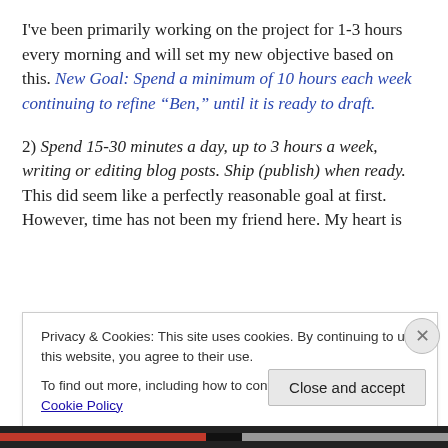I've been primarily working on the project for 1-3 hours every morning and will set my new objective based on this. New Goal: Spend a minimum of 10 hours each week continuing to refine “Ben,” until it is ready to draft.
2) Spend 15-30 minutes a day, up to 3 hours a week, writing or editing blog posts. Ship (publish) when ready. This did seem like a perfectly reasonable goal at first. However, time has not been my friend here. My heart is
Privacy & Cookies: This site uses cookies. By continuing to use this website, you agree to their use.
To find out more, including how to control cookies, see here: Cookie Policy
Close and accept